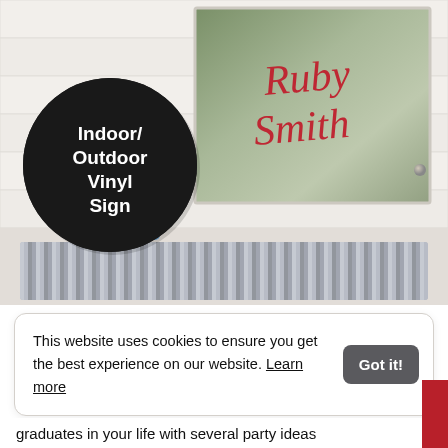[Figure (photo): Photo of an indoor/outdoor vinyl sign mounted on a white shiplap wall. The sign reads 'Ruby Smith' in red cursive script on a nature-themed background. A black circular badge overlays the bottom-left of the image with white text reading 'Indoor/Outdoor Vinyl Sign'. A striped rug is visible on the floor below.]
This website uses cookies to ensure you get the best experience on our website. Learn more
graduates in your life with several party ideas